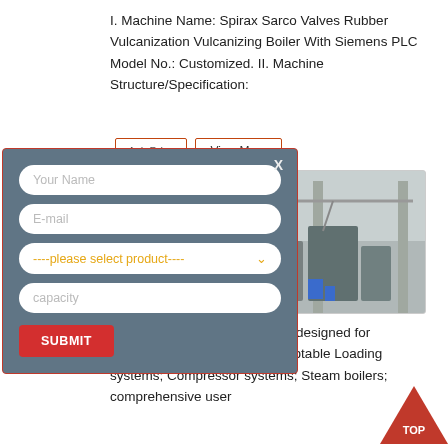I. Machine Name: Spirax Sarco Valves Rubber Vulcanization Vulcanizing Boiler With Siemens PLC Model No.: Customized. II. Machine Structure/Specification:
[Figure (screenshot): A popup contact/inquiry form with fields for Your Name, E-mail, product selection dropdown, capacity, and a SUBMIT button, overlaid on a product page. The form has a steel-blue background with red border and a close X button.]
[Figure (photo): Industrial rubber vulcanization boiler equipment in a factory setting, showing large machinery and structural supports.]
Our rubber curing systems are designed for batch processing, we offer adaptable Loading systems; Compressor systems; Steam boilers; comprehensive user